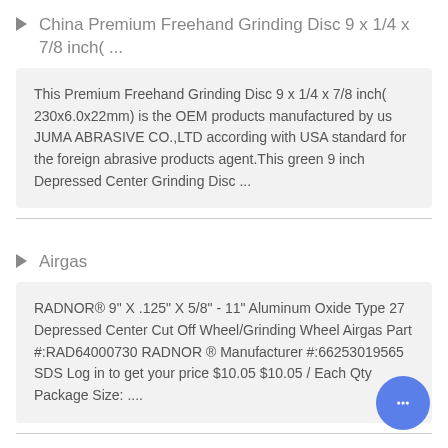China Premium Freehand Grinding Disc 9 x 1/4 x 7/8 inch( ...
This Premium Freehand Grinding Disc 9 x 1/4 x 7/8 inch( 230x6.0x22mm) is the OEM products manufactured by us JUMA ABRASIVE CO.,LTD according with USA standard for the foreign abrasive products agent.This green 9 inch Depressed Center Grinding Disc ...
Airgas
RADNOR® 9" X .125" X 5/8" - 11" Aluminum Oxide Type 27 Depressed Center Cut Off Wheel/Grinding Wheel Airgas Part #:RAD64000730 RADNOR ® Manufacturer #:66253019565 SDS Log in to get your price $10.05 $10.05 / Each Qty Package Size: ....
Decisive 9 inch grinding disc for Industrial Use...